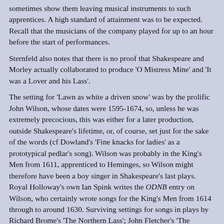sometimes show them leaving musical instruments to such apprentices. A high standard of attainment was to be expected. Recall that the musicians of the company played for up to an hour before the start of performances.
Sternfeld also notes that there is no proof that Shakespeare and Morley actually collaborated to produce 'O Mistress Mine' and 'It was a Lover and his Lass'.
The setting for 'Lawn as white a driven snow' was by the prolific John Wilson, whose dates were 1595-1674, so, unless he was extremely precocious, this was either for a later production, outside Shakespeare's lifetime, or, of course, set just for the sake of the words (cf Dowland's 'Fine knacks for ladies' as a prototypical pedlar's song). Wilson was probably in the King's Men from 1611, apprenticed to Heminges, so Wilson might therefore have been a boy singer in Shakespeare's last plays. Royal Holloway's own Ian Spink writes the ODNB entry on Wilson, who certainly wrote songs for the King's Men from 1614 through to around 1630. Surviving settings for songs in plays by Richard Brome's 'The Northern Lass'; John Fletcher's 'The Beggar's Bush', 'The Bloody Brother', 'The False one', 'Love's Cure', 'The Loyal Subject', 'The Mad Lover', 'The Pilgrim', 'The Queen of Corinth', 'Valentinian', 'The Wild Goose Chase', and 'Women Pleas'd'; John Ford's 'The Lovers' Melancholy'; and Thomas Middleton's 'The Witch'.